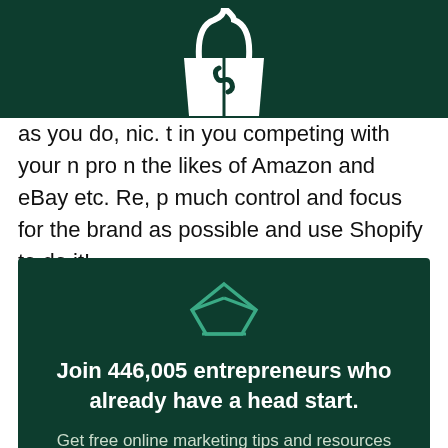[Figure (logo): White shopping bag icon with Shopify-style logo on dark green header background]
as you do, nich t in you competing with your n pro n the likes of Amazon and eBay etc. Re p much control and focus for the brand as possible and use Shopify to do it!
[Figure (illustration): Teal envelope/diamond icon on dark green background]
Join 446,005 entrepreneurs who already have a head start.

Get free online marketing tips and resources delivered directly to your inbox.